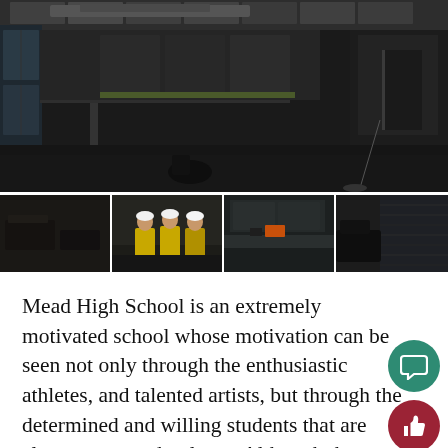[Figure (photo): Composite of 5 photos of Mead High School under construction: a large main photo showing a dark empty interior space with ceiling grid, concrete floors, and hallway visible in background; below are 4 smaller strip photos showing construction areas, three workers in yellow safety vests and hard hats, a lab/classroom counter area, and another construction interior.]
Mead High School is an extremely motivated school whose motivation can be seen not only through the enthusiastic athletes, and talented artists, but through the determined and willing students that are always prepared to learn. Although the school has only been open since